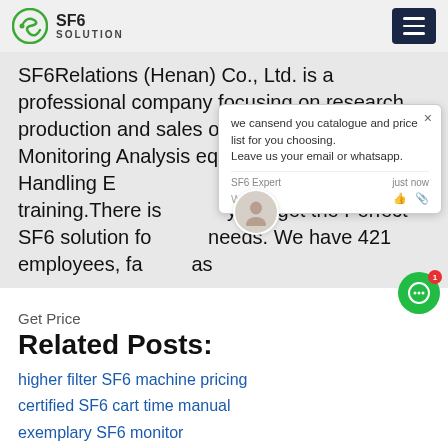SF6 SOLUTION
SF6Relations (Henan) Co., Ltd. is a professional company focusing on research, production and sales of SF6 Tools, includ SF6 Monitoring Analysis equipment.SF6 Recyling Handling Equipment,SF6 On-site service and training.There is ... you'll get the Perfect SF6 solution for ... needs. We have 421 employees, fa... as
[Figure (screenshot): Chat popup with text: we cansend you catalogue and price list for you choosing. Leave us your email or whatsapp. SF6 Expert justnow. Write [thumbs up] [paperclip]]
Get Price
Related Posts:
higher filter SF6 machine pricing
certified SF6 cart time manual
exemplary SF6 monitor
champion Lieferant von SF6 equipments price
cutting-edge SF6 handling analyzer factory